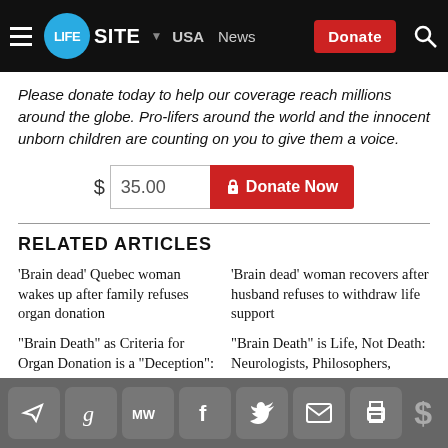LIFESITE | USA | News | Donate
Please donate today to help our coverage reach millions around the globe. Pro-lifers around the world and the innocent unborn children are counting on you to give them a voice.
$ 35.00  Donate Now
RELATED ARTICLES
‘Brain dead’ Quebec woman wakes up after family refuses organ donation
‘Brain dead’ woman recovers after husband refuses to withdraw life support
“Brain Death” as Criteria for Organ Donation is a “Deception”:
“Brain Death” is Life, Not Death: Neurologists, Philosophers,
Social sharing icons: Telegram, Goodreads, MeWe, Facebook, Twitter, Email, Print | Donate ($)